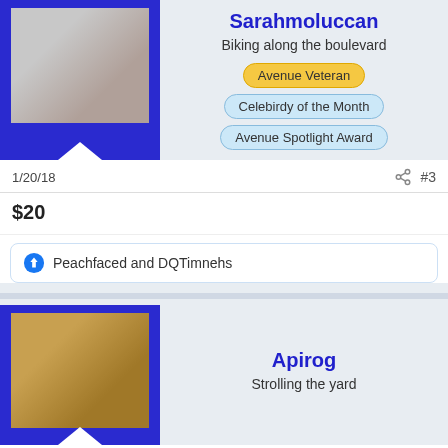Sarahmoluccan
Biking along the boulevard
Avenue Veteran | Celebirdy of the Month | Avenue Spotlight Award
1/20/18
#3
$20
Peachfaced and DQTimnehs
Apirog
Strolling the yard
1/20/18
#4
$25
DQTimnehs